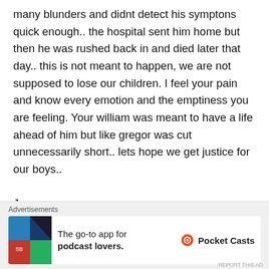many blunders and didnt detect his symptons quick enough.. the hospital sent him home but then he was rushed back in and died later that day.. this is not meant to happen, we are not supposed to lose our children. I feel your pain and know every emotion and the emptiness you are feeling. Your william was meant to have a life ahead of him but like gregor was cut unnecessarily short.. lets hope we get justice for our boys..
Jenny
Like
Advertisements
The go-to app for podcast lovers.
Pocket Casts